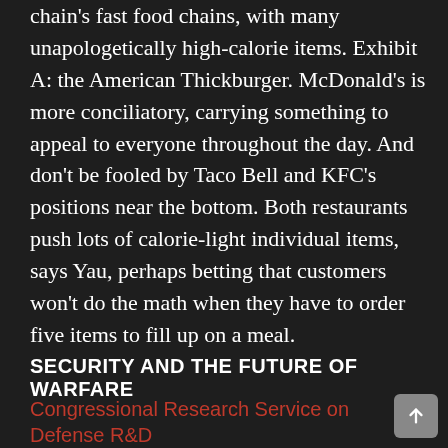chain's fast food chains, with many unapologetically high-calorie items. Exhibit A: the American Thickburger. McDonald's is more conciliatory, carrying something to appeal to everyone throughout the day. And don't be fooled by Taco Bell and KFC's positions near the bottom. Both restaurants push lots of calorie-light individual items, says Yau, perhaps betting that customers won't do the math when they have to order five items to fill up on a meal.
SECURITY AND THE FUTURE OF WARFARE
Congressional Research Service on Defense R&D